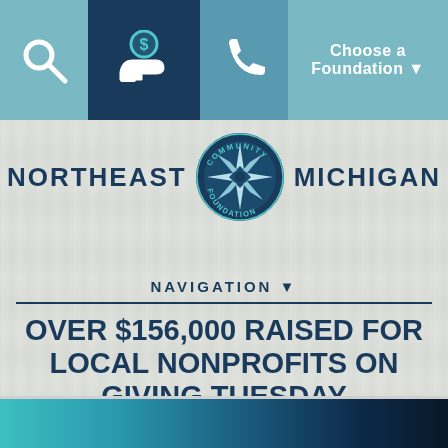Choose a Foundation ▼
[Figure (logo): Northeast Michigan Community Foundation logo with compass rose star badge]
NAVIGATION ▼
OVER $156,000 RAISED FOR LOCAL NONPROFITS ON GIVING TUESDAY
[Figure (photo): Bottom banner photo strip showing teal and dark blue imagery]